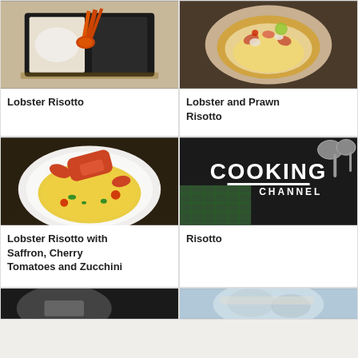[Figure (photo): Food photo: lobster risotto in black tray on wooden board]
Lobster Risotto
[Figure (photo): Food photo: lobster and prawn risotto on a plate with yellow sauce]
Lobster and Prawn Risotto
[Figure (photo): Food photo: lobster risotto with saffron, cherry tomatoes and zucchini on white plate]
Lobster Risotto with Saffron, Cherry Tomatoes and Zucchini
[Figure (logo): Cooking Channel logo on dark background with cooking utensils]
Risotto
[Figure (photo): Partial photo bottom left - dark food image]
[Figure (photo): Partial photo bottom right - seafood image]